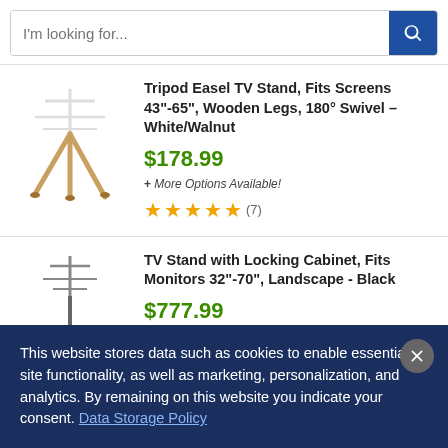I'm looking for...
[Figure (photo): Tripod easel TV stand with white top structure and wooden walnut-colored legs]
Tripod Easel TV Stand, Fits Screens 43"-65", Wooden Legs, 180° Swivel – White/Walnut
$178.99
+ More Options Available!
★★★★★ (7)
[Figure (photo): TV stand with locking cabinet, black, with antenna-like structure on top]
TV Stand with Locking Cabinet, Fits Monitors 32"-70", Landscape - Black
$777.99
This website stores data such as cookies to enable essential site functionality, as well as marketing, personalization, and analytics. By remaining on this website you indicate your consent. Data Storage Policy